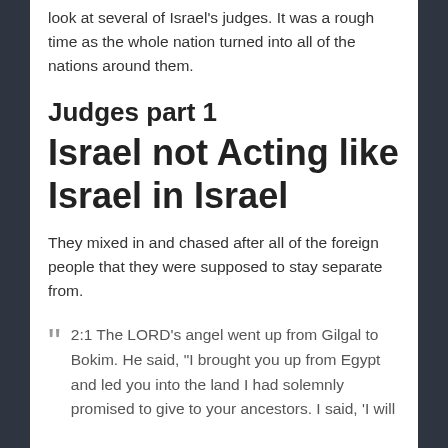look at several of Israel's judges. It was a rough time as the whole nation turned into all of the nations around them.
Judges part 1
Israel not Acting like Israel in Israel
They mixed in and chased after all of the foreign people that they were supposed to stay separate from.
2:1 The LORD's angel went up from Gilgal to Bokim. He said, "I brought you up from Egypt and led you into the land I had solemnly promised to give to your ancestors. I said, 'I will